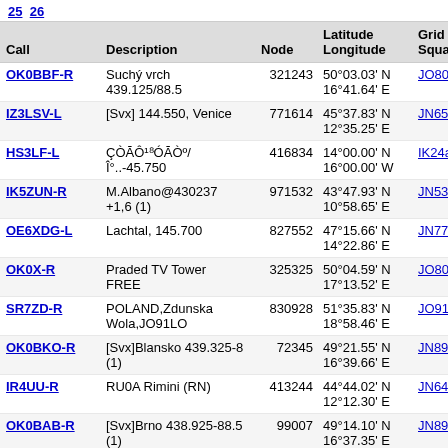25 26
| Call | Description | Node | Latitude Longitude | Grid Square | Dist (mi) |
| --- | --- | --- | --- | --- | --- |
| OK0BBF-R | Suchý vrch 439.125/88.5 | 321243 | 50°03.03' N 16°41.64' E | JO80ib | 3971.9 |
| IZ3LSV-L | [Svx] 144.550, Venice | 771614 | 45°37.83' N 12°35.25' E | JN65hp | 3979.2 |
| HS3LF-L | ÇÒĀÔ¹⁸ÓĀÒº/ Î°..-45.750 | 416834 | 14°00.00' N 16°00.00' W | IK24aa | 3980.1 |
| IK5ZUN-R | M.Albano@430237 +1,6 (1) | 971532 | 43°47.93' N 10°58.65' E | JN53lt | 3982.9 |
| OE6XDG-L | Lachtal, 145.700 | 827552 | 47°15.66' N 14°22.86' E | JN77eg | 3988.9 |
| OK0X-R | Praded TV Tower FREE | 325325 | 50°04.59' N 17°13.52' E | JO80ob | 3990.7 |
| SR7ZD-R | POLAND,Zdunska Wola,JO91LO | 830928 | 51°35.83' N 18°58.46' E | JO91lo | 3996.7 |
| OK0BKO-R | [Svx]Blansko 439.325-8 (1) | 72345 | 49°21.55' N 16°39.66' E | JN89hi | 3996.9 |
| IR4UU-R | RU0A Rimini (RN) | 413244 | 44°44.02' N 12°12.30' E | JN64cr | 3997.8 |
| OK0BAB-R | [Svx]Brno 438.925-88.5 (1) | 99007 | 49°14.10' N 16°37.35' E | JN89hf | 4000.1 |
| OE6XRE-R | Eisenerzer Reichenstein | 383901 | 47°30.03' N 14°55.92' E | JN77lm | 4001.3 |